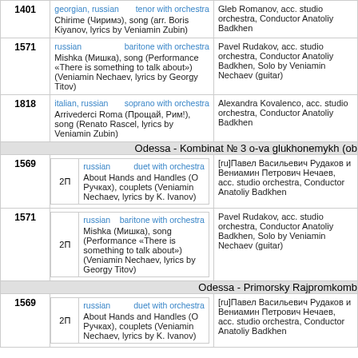| # |  | Song Info | Performer |
| --- | --- | --- | --- |
| 1401 |  | georgian, russian | tenor with orchestra
Chirime (Чиримэ), song (arr. Boris Kiyanov, lyrics by Veniamin Zubin) | Gleb Romanov, acc. studio orchestra, Conductor Anatoliy Badkhen |
| 1571 |  | russian | baritone with orchestra
Mishka (Мишка), song (Performance «There is something to talk about») (Veniamin Nechaev, lyrics by Georgy Titov) | Pavel Rudakov, acc. studio orchestra, Conductor Anatoliy Badkhen, Solo by Veniamin Nechaev (guitar) |
| 1818 |  | italian, russian | soprano with orchestra
Arrivederci Roma (Прощай, Рим!), song (Renato Rascel, lyrics by Veniamin Zubin) | Alexandra Kovalenco, acc. studio orchestra, Conductor Anatoliy Badkhen |
| SECTION | Odessa - Kombinat № 3 o-va glukhonemykh (ob |  |  |
| 1569 | 2П | russian | duet with orchestra
About Hands and Handles (О Ручках), couplets (Veniamin Nechaev, lyrics by K. Ivanov) | [ru]Павел Васильевич Рудаков и Вениамин Петрович Нечаев, acc. studio orchestra, Conductor Anatoliy Badkhen |
| 1571 | 2П | russian | baritone with orchestra
Mishka (Мишка), song (Performance «There is something to talk about») (Veniamin Nechaev, lyrics by Georgy Titov) | Pavel Rudakov, acc. studio orchestra, Conductor Anatoliy Badkhen, Solo by Veniamin Nechaev (guitar) |
| SECTION | Odessa - Primorsky Rajpromkomb |  |  |
| 1569 | 2П | russian | duet with orchestra
About Hands and Handles (О Ручках), couplets (Veniamin Nechaev, lyrics by K. Ivanov) | [ru]Павел Васильевич Рудаков и Вениамин Петрович Нечаев, acc. studio orchestra, Conductor Anatoliy Badkhen |